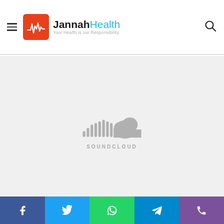Jannah Health - Your Health is our Responsibility
[Figure (logo): SoundCloud logo placeholder in a light gray content area]
Social share buttons: Facebook, Twitter, WhatsApp, Telegram, Viber